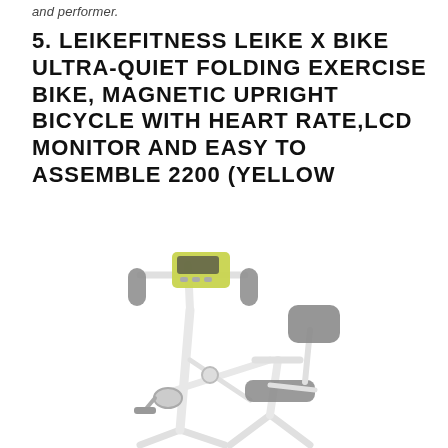and performer.
5. LEIKEFITNESS LEIKE X BIKE ULTRA-QUIET FOLDING EXERCISE BIKE, MAGNETIC UPRIGHT BICYCLE WITH HEART RATE,LCD MONITOR AND EASY TO ASSEMBLE 2200 (YELLOW
[Figure (photo): Photo of a folding exercise bike (LeikeFitness Leike X Bike) with white frame, gray padded seat and backrest, gray handlebar grips, and a yellow-green LCD monitor panel at the top center.]